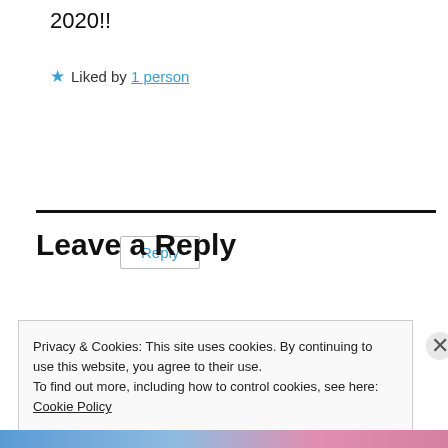2020!!
★ Liked by 1 person
Reply
Leave a Reply
Privacy & Cookies: This site uses cookies. By continuing to use this website, you agree to their use.
To find out more, including how to control cookies, see here: Cookie Policy
Close and accept